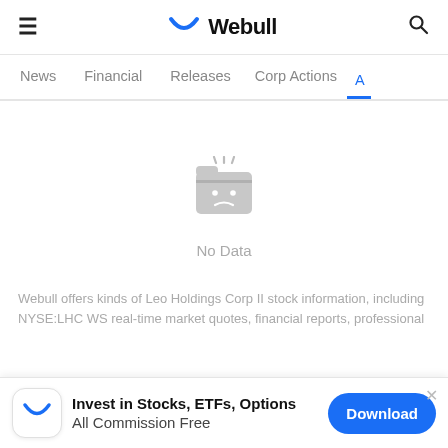Webull
News  Financial  Releases  Corp Actions  A
[Figure (illustration): Gray folder icon with a sad face and steam lines, indicating no data available]
No Data
Webull offers kinds of Leo Holdings Corp II stock information, including NYSE:LHC WS real-time market quotes, financial reports, professional
Invest in Stocks, ETFs, Options All Commission Free  Download